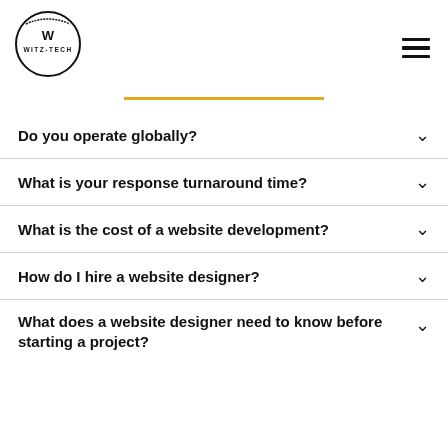[Figure (logo): WITZ-TECH logo: circular black border with W and WITZ-TECH text inside]
Do you operate globally?
What is your response turnaround time?
What is the cost of a website development?
How do I hire a website designer?
What does a website designer need to know before starting a project?